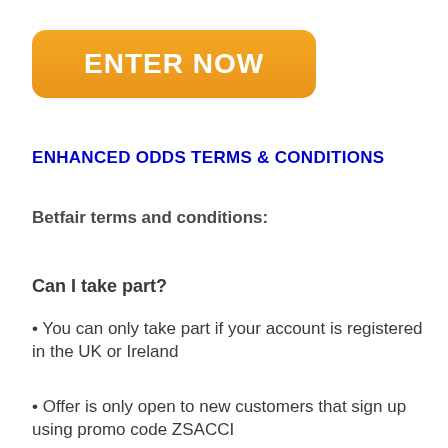[Figure (other): Orange rounded button with white bold text 'ENTER NOW']
ENHANCED ODDS TERMS & CONDITIONS
Betfair terms and conditions:
Can I take part?
• You can only take part if your account is registered in the UK or Ireland
• Offer is only open to new customers that sign up using promo code ZSACCI